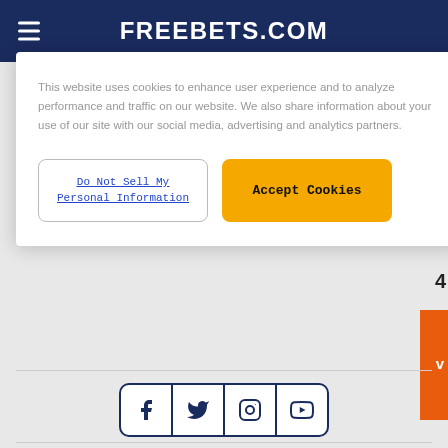FREEBETS.COM
This website uses cookies to enhance user experience and to analyze performance and traffic on our website. We also share information about your use of our site with our social media, advertising and analytics partners.
Do Not Sell My Personal Information
Accept Cookies
[Figure (screenshot): Social media icons row: Facebook, Twitter, Instagram, YouTube — outlined in dark blue border with rounded corners]
© 2010 - 2022
About FreeBets.Com